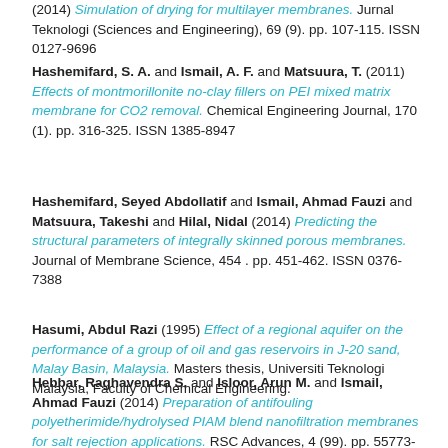(2014) Simulation of drying for multilayer membranes. Jurnal Teknologi (Sciences and Engineering), 69 (9). pp. 107-115. ISSN 0127-9696
Hashemifard, S. A. and Ismail, A. F. and Matsuura, T. (2011) Effects of montmorillonite no-clay fillers on PEI mixed matrix membrane for CO2 removal. Chemical Engineering Journal, 170 (1). pp. 316-325. ISSN 1385-8947
Hashemifard, Seyed Abdollatif and Ismail, Ahmad Fauzi and Matsuura, Takeshi and Hilal, Nidal (2014) Predicting the structural parameters of integrally skinned porous membranes. Journal of Membrane Science, 454 . pp. 451-462. ISSN 0376-7388
Hasumi, Abdul Razi (1995) Effect of a regional aquifer on the performance of a group of oil and gas reservoirs in J-20 sand, Malay Basin, Malaysia. Masters thesis, Universiti Teknologi Malaysia, Faculty of Chemical Engineering.
Hebbar, Raghavendra S. and Isloor, Arun M. and Ismail, Ahmad Fauzi (2014) Preparation of antifouling polyetherimide/hydrolysed PIAM blend nanofiltration membranes for salt rejection applications. RSC Advances, 4 (99). pp. 55773-55780. ISSN 2046-2069